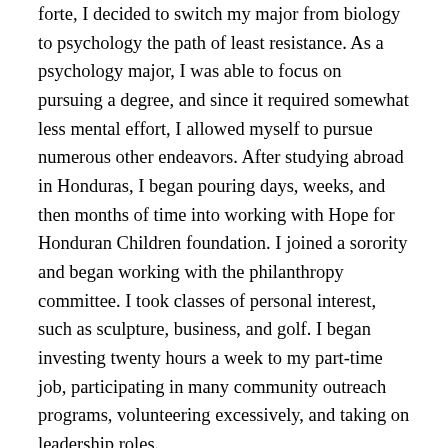forte, I decided to switch my major from biology to psychology the path of least resistance. As a psychology major, I was able to focus on pursuing a degree, and since it required somewhat less mental effort, I allowed myself to pursue numerous other endeavors. After studying abroad in Honduras, I began pouring days, weeks, and then months of time into working with Hope for Honduran Children foundation. I joined a sorority and began working with the philanthropy committee. I took classes of personal interest, such as sculpture, business, and golf. I began investing twenty hours a week to my part-time job, participating in many community outreach programs, volunteering excessively, and taking on leadership roles.

To anyone on the outside, I was a stellar student with countless extracurriculars, but on the inside, I felt like a failure. When it came time to graduate, I had a B.A. in Psychology and a dying dream of becoming a dentist. Looking back, I felt thankful to have had numerous opportunities to study abroad, participate in community service, and achieve a top-notch liberal arts education, but I was equally disappointed that I had not kept focus on my original plan of going to dental school. Fleeing, in hindsight, had been the...